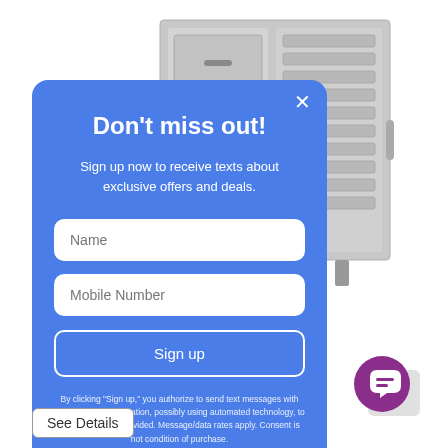[Figure (photo): Gray metal filing cabinet with drawers, shown in background behind a modal popup]
[Figure (screenshot): Blue modal popup with 'Don't miss out!' headline, subtitle text, Name and Mobile Number input fields, Sign up button, and disclaimer text]
Don't miss out!
Sign up now to receive texts about exclusive offers and deals.
Name
Mobile Number
Sign up
By clicking "Sign up," you authorize to send text messages with offers & other information, possibly using automated technology, to the number you provided. Message/data rates apply. Consent is not condition of purchase.
See Details
[Figure (logo): Purple circular chat/messaging icon in bottom right corner]